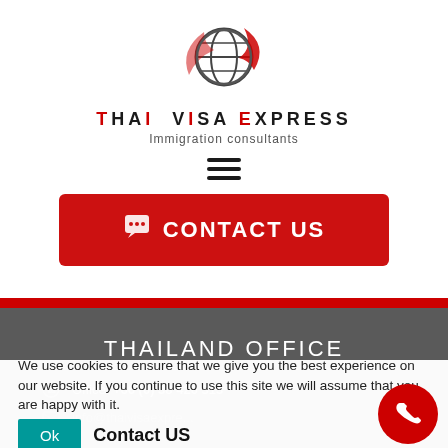[Figure (logo): Thai Visa Express globe logo with red swoosh]
THAI VISA EXPRESS
Immigration consultants
[Figure (other): Hamburger menu icon (three horizontal lines)]
CONTACT US
THAILAND OFFICE
Office: +66 (0) 38 420 313
info@thaivisaexpre...
Thai Visa Express
420/191 Moo 9, Soi 15 Nongprue, Banglamung, Chonbur...
We use cookies to ensure that we give you the best experience on our website. If you continue to use this site we will assume that you are happy with it.
Contact US